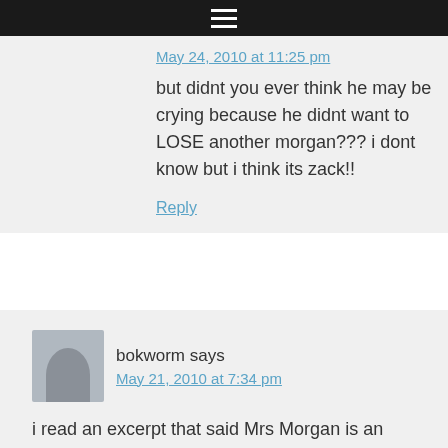≡
May 24, 2010 at 11:25 pm
but didnt you ever think he may be crying because he didnt want to LOSE another morgan??? i dont know but i think its zack!!
Reply
bokworm says
May 21, 2010 at 7:34 pm
i read an excerpt that said Mrs Morgan is an awesome liar could be